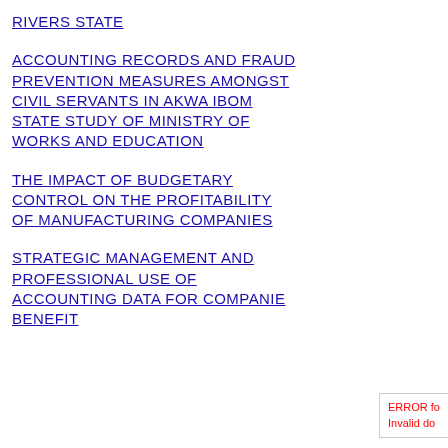RIVERS STATE
ACCOUNTING RECORDS AND FRAUD PREVENTION MEASURES AMONGST CIVIL SERVANTS IN AKWA IBOM STATE STUDY OF MINISTRY OF WORKS AND EDUCATION
THE IMPACT OF BUDGETARY CONTROL ON THE PROFITABILITY OF MANUFACTURING COMPANIES
STRATEGIC MANAGEMENT AND PROFESSIONAL USE OF ACCOUNTING DATA FOR COMPANIES BENEFIT